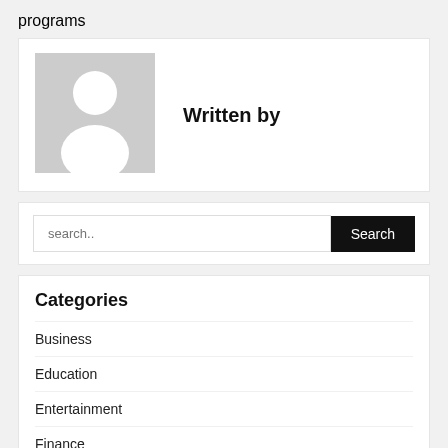programs
[Figure (illustration): Generic user avatar placeholder image (grey background with white silhouette of a person)]
Written by
search..
Categories
Business
Education
Entertainment
Finance
Games
General
Health